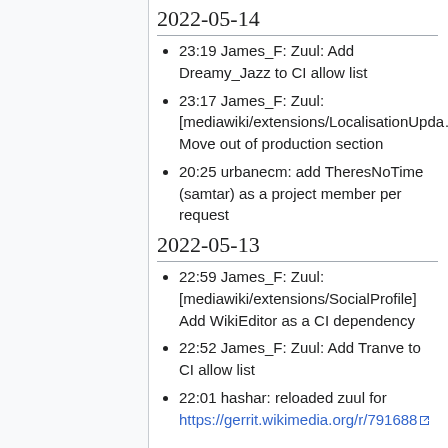2022-05-14
23:19 James_F: Zuul: Add Dreamy_Jazz to CI allow list
23:17 James_F: Zuul: [mediawiki/extensions/LocalisationUpdate] Move out of production section
20:25 urbanecm: add TheresNoTime (samtar) as a project member per request
2022-05-13
22:59 James_F: Zuul: [mediawiki/extensions/SocialProfile] Add WikiEditor as a CI dependency
22:52 James_F: Zuul: Add Tranve to CI allow list
22:01 hashar: reloaded zuul for https://gerrit.wikimedia.org/r/791688